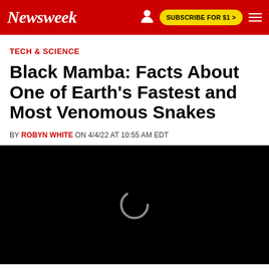Newsweek | SUBSCRIBE FOR $1 >
TECH & SCIENCE
Black Mamba: Facts About One of Earth's Fastest and Most Venomous Snakes
BY ROBYN WHITE ON 4/4/22 AT 10:55 AM EDT
[Figure (other): Black video player loading screen with circular loading spinner]